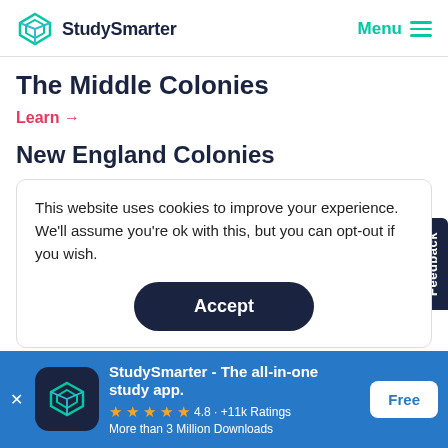StudySmarter  Menu
The Middle Colonies
Learn →
New England Colonies
This website uses cookies to improve your experience. We'll assume you're ok with this, but you can opt-out if you wish.
Accept
Feedback
StudySmarter - The all-in-one study app.
★★★★★ 4.8 · +11k Ratings
More than 3 Million Downloads
Free